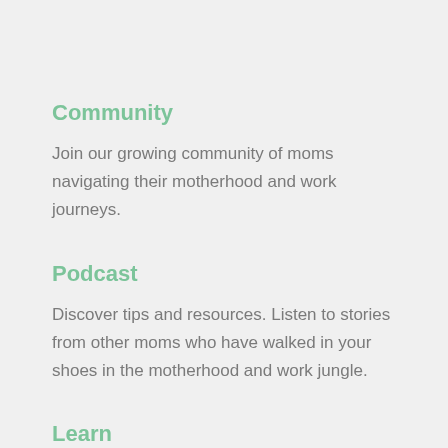Community
Join our growing community of moms navigating their motherhood and work journeys.
Podcast
Discover tips and resources. Listen to stories from other moms who have walked in your shoes in the motherhood and work jungle.
Learn